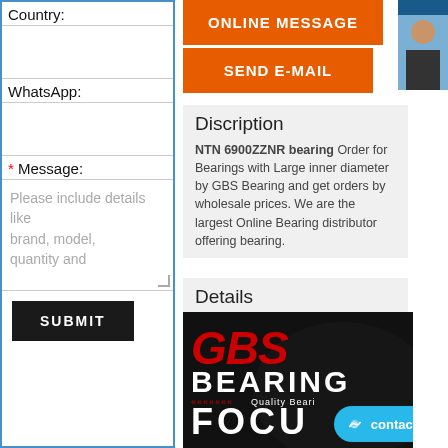Country:
WhatsApp:
* Message:
Please include details like brand, model, quantity and
SUBMIT
ONLINE MESSAGE
SEND E-MAIL
Discription
NTN 6900ZZNR bearing Order for Bearings with Large inner diameter by GBS Bearing and get orders by wholesale prices. We are the largest Online Bearing distributor offering bearing.
Details
[Figure (logo): GBS Bearing logo with red GBS letters and white BEARING text on dark background]
contact